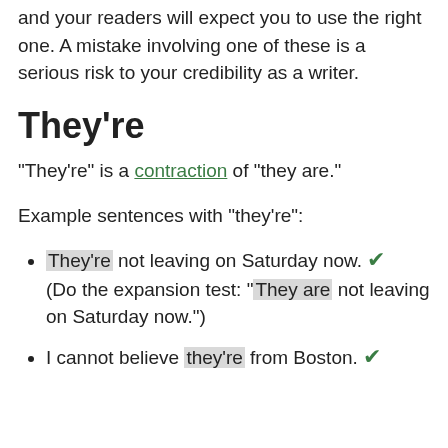and your readers will expect you to use the right one. A mistake involving one of these is a serious risk to your credibility as a writer.
They're
"They're" is a contraction of "they are."
Example sentences with "they're":
They're not leaving on Saturday now. ✔ (Do the expansion test: "They are not leaving on Saturday now.")
I cannot believe they're from Boston. ✔